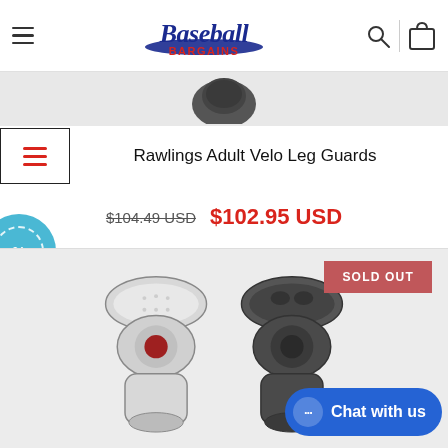Baseball Bargains
[Figure (photo): Partial product image at top of page, showing top of a catcher's helmet/mask in dark color]
Rawlings Adult Velo Leg Guards
$104.49 USD  $102.95 USD
[Figure (photo): Product photo of Rawlings Adult Velo Leg Guards showing front and back view. Front shows silver/white padding with red Rawlings logo, back shows black hard shell. SOLD OUT badge in upper right.]
Chat with us